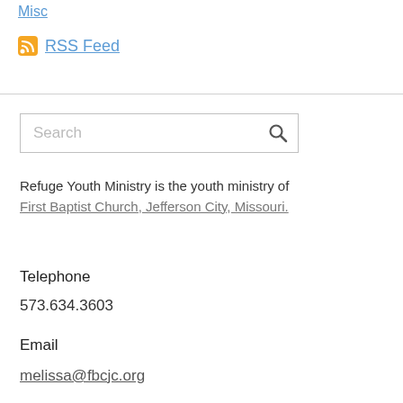Misc
RSS Feed
[Figure (other): Search bar with magnifying glass icon]
Refuge Youth Ministry is the youth ministry of First Baptist Church, Jefferson City, Missouri.
Telephone
573.634.3603
Email
melissa@fbcjc.org